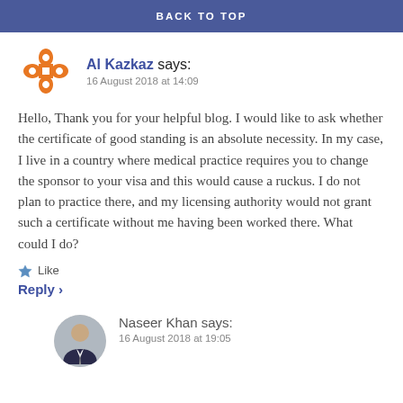BACK TO TOP
Al Kazkaz says:
16 August 2018 at 14:09
Hello, Thank you for your helpful blog. I would like to ask whether the certificate of good standing is an absolute necessity. In my case, I live in a country where medical practice requires you to change the sponsor to your visa and this would cause a ruckus. I do not plan to practice there, and my licensing authority would not grant such a certificate without me having been worked there. What could I do?
Like
Reply ›
Naseer Khan says:
16 August 2018 at 19:05